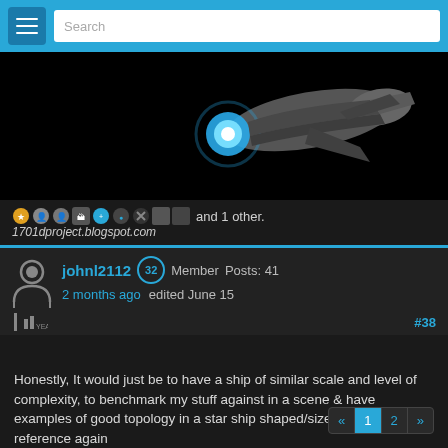Search
[Figure (photo): A spaceship or spacecraft model rendered on a black background, showing the front/engine area with a glowing blue light]
and 1 other.
1701dproject.blogspot.com
johnl2112  32  Member  Posts: 41
2 months ago  edited June 15
#38
Honestly, It would just be to have a ship of similar scale and level of complexity, to benchmark my stuff against in a scene & have examples of good topology in a star ship shaped/size thing to reference again

There is a TON of that for real world objects, and small scale stuff. But "hardbody modeling of things 1000+ feet long" I haven't found much of.